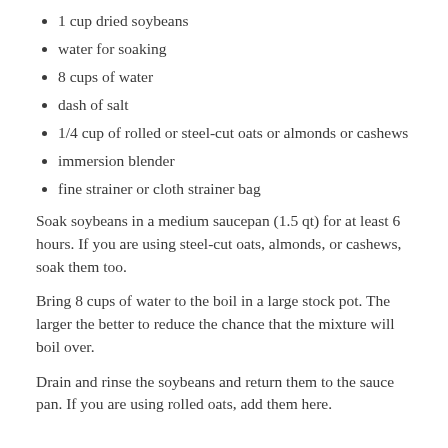1 cup dried soybeans
water for soaking
8 cups of water
dash of salt
1/4 cup of rolled or steel-cut oats or almonds or cashews
immersion blender
fine strainer or cloth strainer bag
Soak soybeans in a medium saucepan (1.5 qt) for at least 6 hours. If you are using steel-cut oats, almonds, or cashews, soak them too.
Bring 8 cups of water to the boil in a large stock pot. The larger the better to reduce the chance that the mixture will boil over.
Drain and rinse the soybeans and return them to the sauce pan. If you are using rolled oats, add them here.